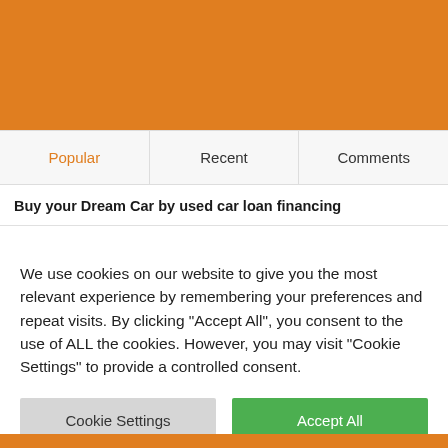[Figure (other): Orange banner/header area at the top of the page]
| Popular | Recent | Comments |
| --- | --- | --- |
Buy your Dream Car by used car loan financing
We use cookies on our website to give you the most relevant experience by remembering your preferences and repeat visits. By clicking "Accept All", you consent to the use of ALL the cookies. However, you may visit "Cookie Settings" to provide a controlled consent.
Cookie Settings | Accept All